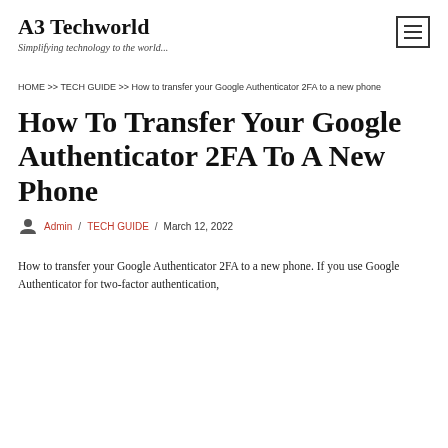A3 Techworld
Simplifying technology to the world...
HOME >> TECH GUIDE >> How to transfer your Google Authenticator 2FA to a new phone
How To Transfer Your Google Authenticator 2FA To A New Phone
Admin / TECH GUIDE / March 12, 2022
How to transfer your Google Authenticator 2FA to a new phone. If you use Google Authenticator for two-factor authentication,